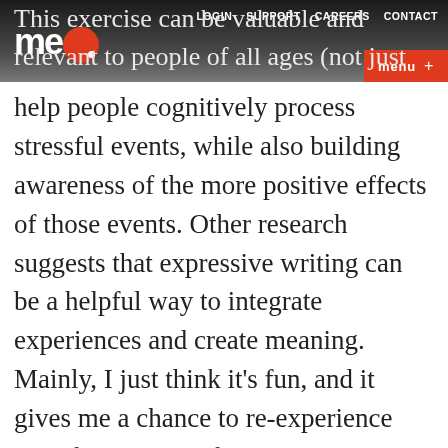LOGIN  SUPPORT  CAREERS  CONTACT  meQ. menu +
This exercise can be valuable and relevant to people of all ages (not just children). Research shows that structured writing can help people cognitively process stressful events, while also building awareness of the more positive effects of those events. Other research suggests that expressive writing can be a helpful way to integrate experiences and create meaning. Mainly, I just think it’s fun, and it gives me a chance to re-experience specific moments from a new perspective.

The recent birth of my son inspired me to